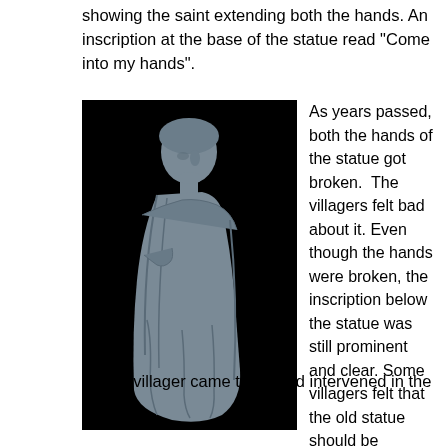showing the saint extending both the hands. An inscription at the base of the statue read “Come into my hands”.
[Figure (photo): A stone or marble statue of a saint figure shown from a side/front angle against a black background. The statue depicts a robed figure without hands.]
As years passed, both the hands of the statue got broken. The villagers felt bad about it. Even though the hands were broken, the inscription below the statue was still prominent and clear. Some villagers felt that the old statue should be removed and a new one of the saint with extended hands must be installed again there. Some other people said, “There is no need to discard this statue. It is enough we we repaired it to attach two hands.”
An old villager came there and intervened in the